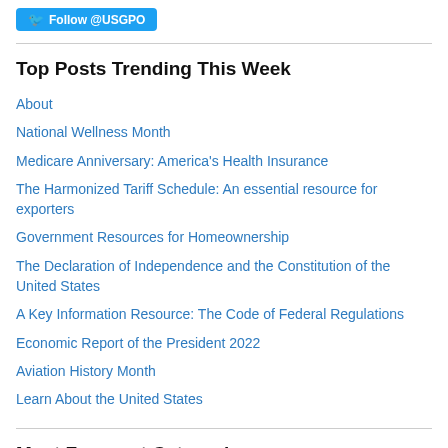[Figure (other): Twitter Follow @USGPO button in blue]
Top Posts Trending This Week
About
National Wellness Month
Medicare Anniversary: America's Health Insurance
The Harmonized Tariff Schedule: An essential resource for exporters
Government Resources for Homeownership
The Declaration of Independence and the Constitution of the United States
A Key Information Resource: The Code of Federal Regulations
Economic Report of the President 2022
Aviation History Month
Learn About the United States
Most Frequent Categories